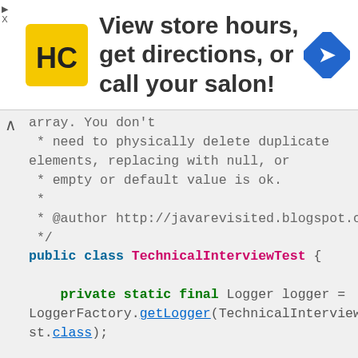[Figure (logo): HC salon logo on yellow background]
View store hours, get directions, or call your salon!
[Figure (logo): Blue navigation/directions icon diamond shape]
array. You don't
 * need to physically delete duplicate elements, replacing with null, or
 * empty or default value is ok.
 *
 * @author http://javarevisited.blogspot.com
 */
public class TechnicalInterviewTest {

    private static final Logger logger =
LoggerFactory.getLogger(TechnicalInterviewTest.class);

    public static void main(String args[]) {

        int[][] test = new int[][]{
                {1, 1, 2, 2, 3, 4, 5}